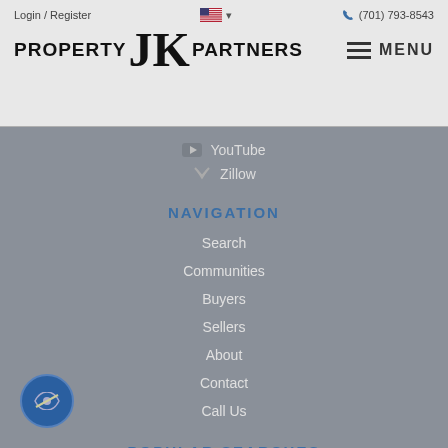Login / Register  (701) 793-8543
[Figure (logo): JK Property Partners logo with large JK letters flanked by PROPERTY and PARTNERS text]
MENU
YouTube
Zillow
NAVIGATION
Search
Communities
Buyers
Sellers
About
Contact
Call Us
POPULAR SEARCHES